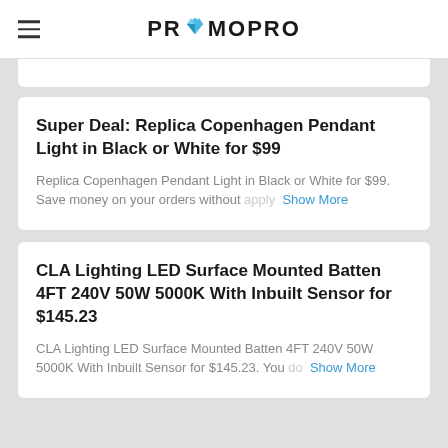PROMOPRO
Super Deal: Replica Copenhagen Pendant Light in Black or White for $99
Replica Copenhagen Pendant Light in Black or White for $99. Save money on your orders without apply  Show More
CLA Lighting LED Surface Mounted Batten 4FT 240V 50W 5000K With Inbuilt Sensor for $145.23
CLA Lighting LED Surface Mounted Batten 4FT 240V 50W 5000K With Inbuilt Sensor for $145.23. You do  Show More